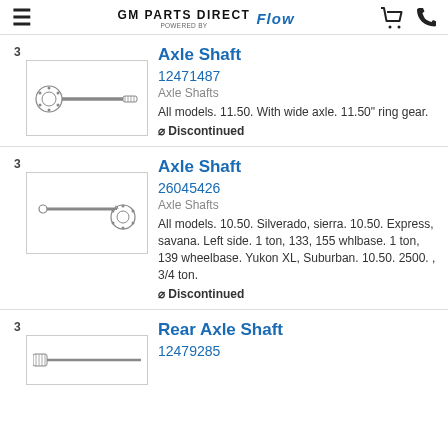GM PARTS DIRECT POWERED BY FLOW
[Figure (illustration): Axle shaft illustration showing a shaft with flanged end and threaded tip, labeled 3]
Axle Shaft
12471487
Axle Shafts
All models. 11.50. With wide axle. 11.50" ring gear.
⊘ Discontinued
[Figure (illustration): Axle shaft illustration showing a long shaft with disc flange on right end, labeled 3]
Axle Shaft
26045426
Axle Shafts
All models. 10.50. Silverado, sierra. 10.50. Express, savana. Left side. 1 ton, 133, 155 whlbase. 1 ton, 139 wheelbase. Yukon XL, Suburban. 10.50. 2500. , 3/4 ton.
⊘ Discontinued
[Figure (illustration): Rear axle shaft illustration showing a long narrow shaft, labeled 3]
Rear Axle Shaft
12479285